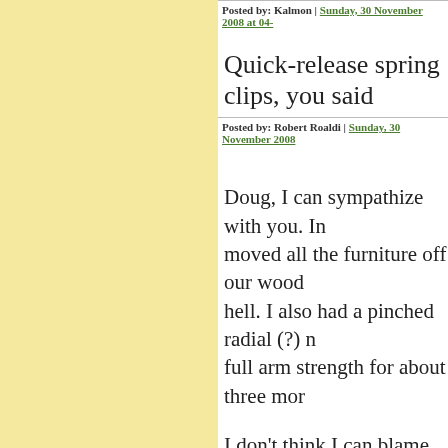Posted by: Kalmon | Sunday, 30 November 2008 at 04-...
Quick-release spring clips, you said...
Posted by: Robert Roaldi | Sunday, 30 November 2008...
Doug, I can sympathize with you. In... moved all the furniture off our wood... hell. I also had a pinched radial (?) n... full arm strength for about three mor...

I don't think I can blame the camera... carried it in my hand (with a wrist st... a lot of gear.
Posted by: mwg | Sunday, 30 November 2008 at 08:58...
Neoprene straps like OpTech are nic... camera bounces too much on a neop... straps that I've owned have all starte...